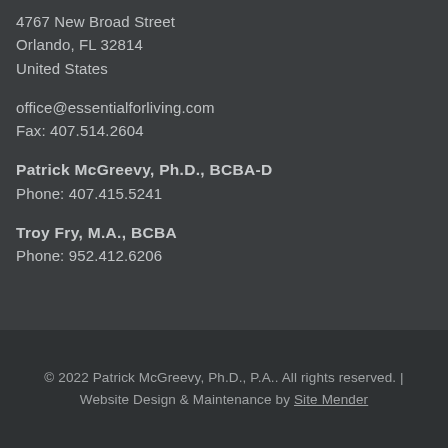4767 New Broad Street
Orlando, FL 32814
United States
office@essentialforliving.com
Fax: 407.514.2604
Patrick McGreevy, Ph.D., BCBA-D
Phone: 407.415.5241
Troy Fry, M.A., BCBA
Phone: 952.412.6206
© 2022 Patrick McGreevy, Ph.D., P.A.. All rights reserved. | Website Design & Maintenance by Site Mender